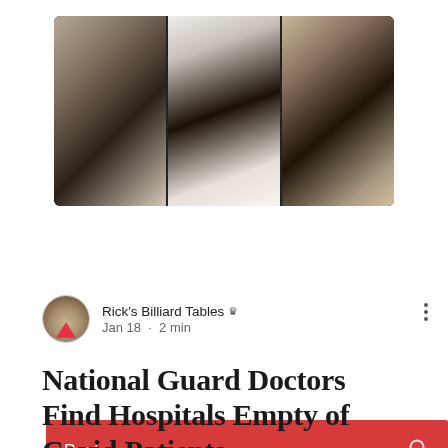[Figure (photo): A collage of three photos in a dark strip showing people in black and white photography]
Post
Rick's Billiard Tables  Jan 18 · 2 min
National Guard Doctors Find Hospitals Empty of Covid Patients